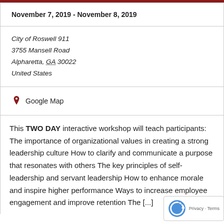November 7, 2019 - November 8, 2019
City of Roswell 911
3755 Mansell Road
Alpharetta, GA 30022
United States
Google Map
This TWO DAY interactive workshop will teach participants: The importance of organizational values in creating a strong leadership culture How to clarify and communicate a purpose that resonates with others The key principles of self-leadership and servant leadership How to enhance morale and inspire higher performance Ways to increase employee engagement and improve retention The [...]